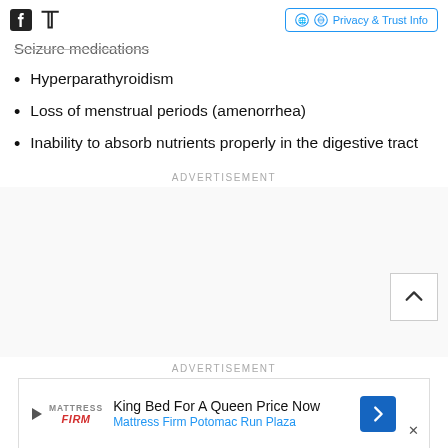Social icons and Privacy & Trust Info button
Seizure medications
Hyperparathyroidism
Loss of menstrual periods (amenorrhea)
Inability to absorb nutrients properly in the digestive tract
ADVERTISEMENT
ADVERTISEMENT
[Figure (other): Mattress Firm advertisement banner: King Bed For A Queen Price Now, Mattress Firm Potomac Run Plaza]